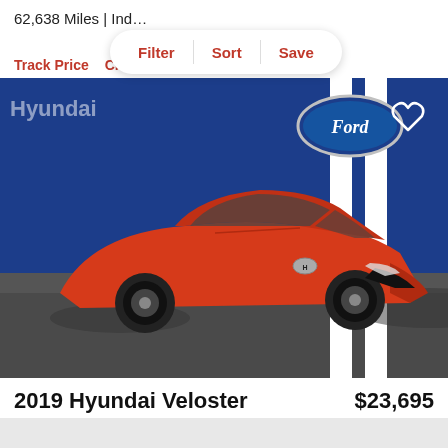62,638 Miles | Ind...
Filter | Sort | Save
Track Price   Che...
[Figure (photo): Red 2019 Hyundai Veloster Turbo parked in front of a Ford dealership with a blue background and white racing stripes. A heart/favorite icon is visible in the top right corner.]
2019 Hyundai Veloster   $23,695
Turbo Turbo R-Spec